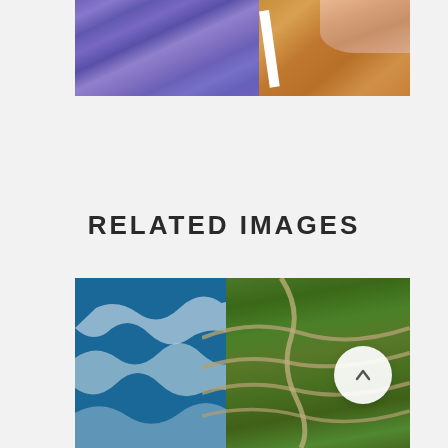[Figure (photo): Partial view of a photo being held on a wooden table — photo shows purple/blue rocky terrain, held by a hand; white border visible]
RELATED IMAGES
[Figure (photo): Aerial view of a coastal landscape — turquoise ocean waves crashing on the left, green terraced cliffs and winding road on the right]